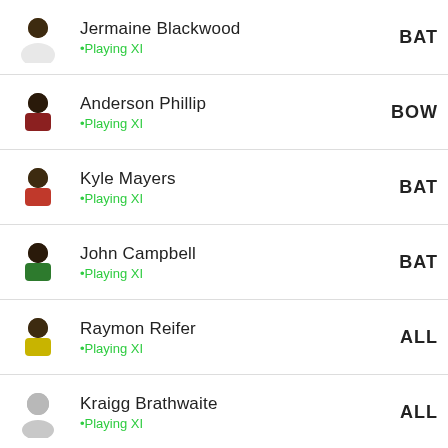Jermaine Blackwood | BAT | •Playing XI
Anderson Phillip | BOW | •Playing XI
Kyle Mayers | BAT | •Playing XI
John Campbell | BAT | •Playing XI
Raymon Reifer | ALL | •Playing XI
Kraigg Brathwaite | ALL | •Playing XI
...partial row cut off at bottom